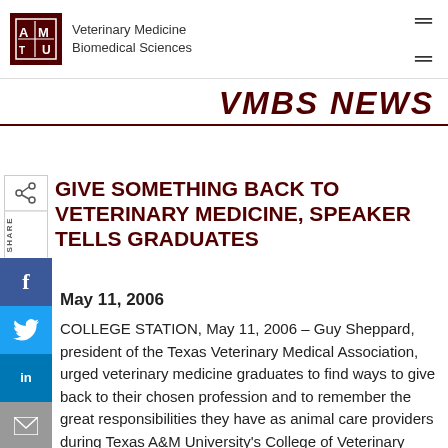Veterinary Medicine Biomedical Sciences
VMBS NEWS
GIVE SOMETHING BACK TO VETERINARY MEDICINE, SPEAKER TELLS GRADUATES
May 11, 2006
COLLEGE STATION, May 11, 2006 – Guy Sheppard, president of the Texas Veterinary Medical Association, urged veterinary medicine graduates to find ways to give back to their chosen profession and to remember the great responsibilities they have as animal care providers during Texas A&M University's College of Veterinary Medicine & Biomedical Sciences commencement ceremonies Thursday in Rudder